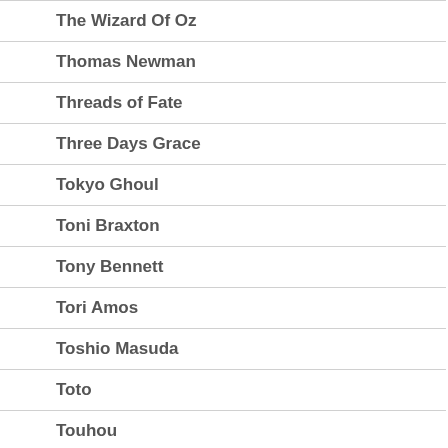The Wizard Of Oz
Thomas Newman
Threads of Fate
Three Days Grace
Tokyo Ghoul
Toni Braxton
Tony Bennett
Tori Amos
Toshio Masuda
Toto
Touhou